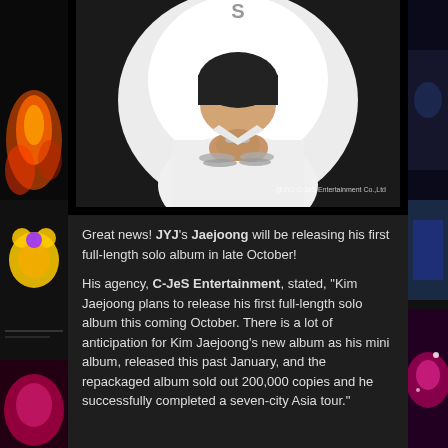[Figure (photo): Photo of Kim Jaejoong (JYJ member) in white t-shirt with hands clasped, wearing silver rings and bracelets, looking down. Black background. Watermark reads '@JYJ C-JeS Entertainment Co.,Ltd']
Great news! JYJ's Jaejoong will be releasing his first full-length solo album in late October!
His agency, C-JeS Entertainment, stated, "Kim Jaejoong plans to release his first full-length solo album this coming October. There is a lot of anticipation for Kim Jaejoong's new album as his mini album, released this past January, and the repackaged album sold out 200,000 copies and he successfully completed a seven-city Asia tour."